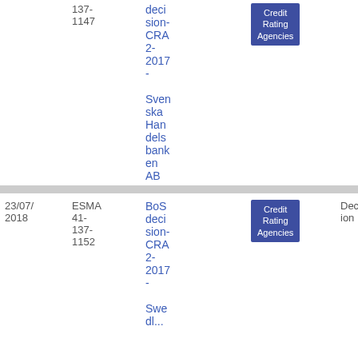| Date | Reference | Document | Tag | Type | File |
| --- | --- | --- | --- | --- | --- |
|  | ESMA 41-137-1147 | BoS decision-CRA2-2017 - Svenska Handelsbanken AB | Credit Rating Agencies | Decision | PDF 69 0.73 KB |
| 23/07/2018 | ESMA 41-137-1152 | BoS decision-CRA2-2017 - Swed... | Credit Rating Agencies | Decision | PDF 71 5.12 KB |